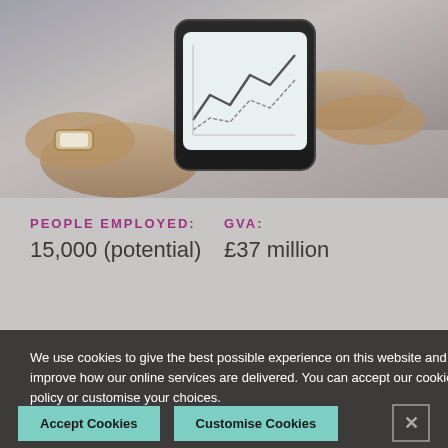[Figure (photo): Hands holding a smartphone displaying a financial chart/graph, with a watch visible on the wrist. Background is a desk surface.]
PEOPLE EMPLOYED:
15,000 (potential)
GVA:
£37 million
We use cookies to give the best possible experience on this website and to improve how our online services are delivered. You can accept our cookies policy or customise your choices.
Accept Cookies
Customise Cookies